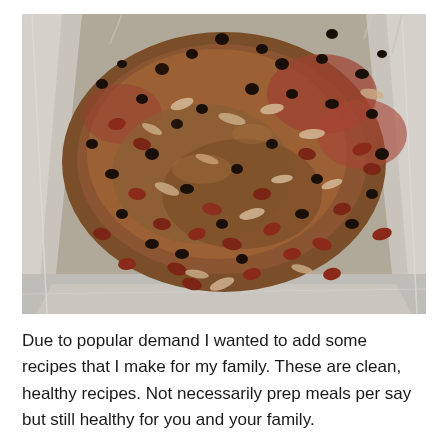[Figure (photo): Close-up photo of a bean and meat stew or chili in a foil-lined pan. The dish contains black beans, kidney beans, shredded chicken or meat, and a thick brown sauce. The pan is lined with crinkled aluminum foil.]
Due to popular demand I wanted to add some recipes that I make for my family. These are clean, healthy recipes. Not necessarily prep meals per say but still healthy for you and your family.